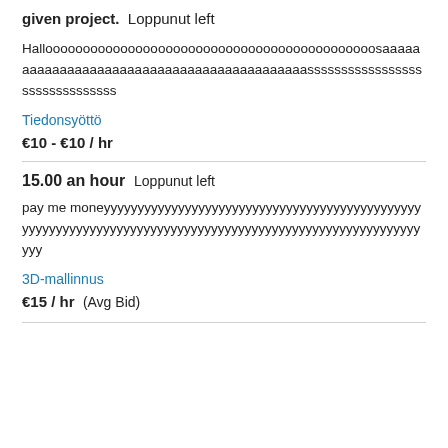given project.  Loppunut left
Halloooooooooooooooooooooooooooooooooooooooooooosaaaaaaaaaaaaaaaaaaaaaaaaaaaaaaaaaaaaaaaaaasssssssssssssssssssssssssssssss
Tiedonsyöttö
€10 - €10 / hr
15.00 an hour  Loppunut left
pay me moneyyyyyyyyyyyyyyyyyyyyyyyyyyyyyyyyyyyyyyyyyyyyyyyyyyyyyyyyyyyyyyyyyyyyyyyyyyyyyyyyyyyyyyyyyyyyyyyyyyyyyyyyyy
3D-mallinnus
€15 / hr  (Avg Bid)